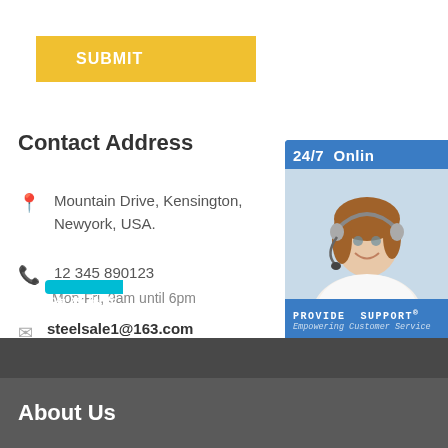SUBMIT
Contact Address
Mountain Drive, Kensington, Newyork, USA.
12 345 890123
Mon-Fri, 9am until 6pm
steelsale1@163.com
We reply within 24 hours
[Figure (infographic): 24/7 Online support banner with customer service representative, 'PROVIDE SUPPORT Empowering Customer Service', and 'online live' button. Chinese text tab '在线咨询' on left side.]
About Us